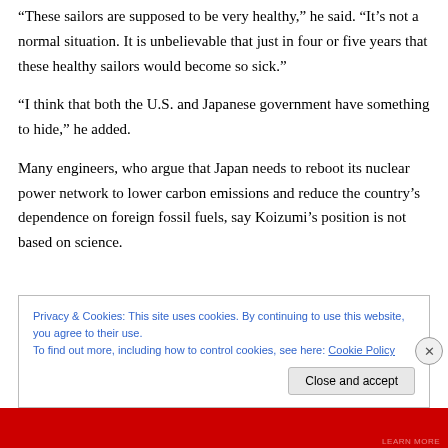“These sailors are supposed to be very healthy,” he said. “It’s not a normal situation. It is unbelievable that just in four or five years that these healthy sailors would become so sick.”
“I think that both the U.S. and Japanese government have something to hide,” he added.
Many engineers, who argue that Japan needs to reboot its nuclear power network to lower carbon emissions and reduce the country’s dependence on foreign fossil fuels, say Koizumi’s position is not based on science.
Privacy & Cookies: This site uses cookies. By continuing to use this website, you agree to their use.
To find out more, including how to control cookies, see here: Cookie Policy